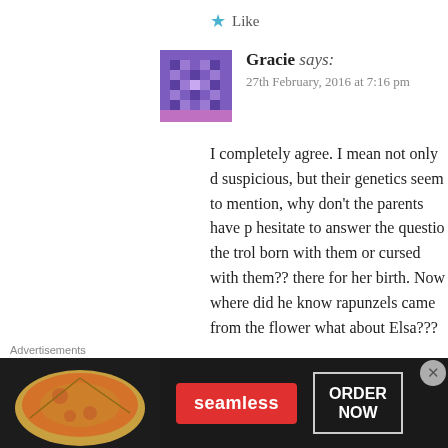★ Like
[Figure (illustration): Purple pixel-art avatar with letter H pattern for user Gracie]
Gracie says:
27th February, 2016 at 7:16 pm
I completely agree. I mean not only d suspicious, but their genetics seem to mention, why don't the parents have p hesitate to answer the questio the trol born with them or cursed with them?? there for her birth. Now where did he know rapunzels came from the flower what about Elsa??? Where did her blo she get to the kingdom??? Well We knew mother ethyl kidnapped Ra
Advertisements
[Figure (screenshot): Seamless food delivery advertisement banner with pizza image, seamless logo and ORDER NOW button]